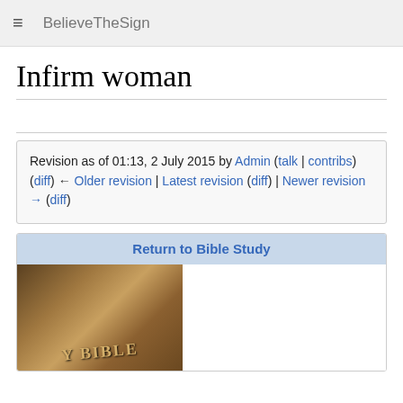BelieveTheSign
Infirm woman
Revision as of 01:13, 2 July 2015 by Admin (talk | contribs)
(diff) ← Older revision | Latest revision (diff) | Newer revision → (diff)
[Figure (photo): Photograph of a worn leather-bound Holy Bible, partially shown. Text 'BIBLE' visible on spine/cover. Blue background.]
Return to Bible Study